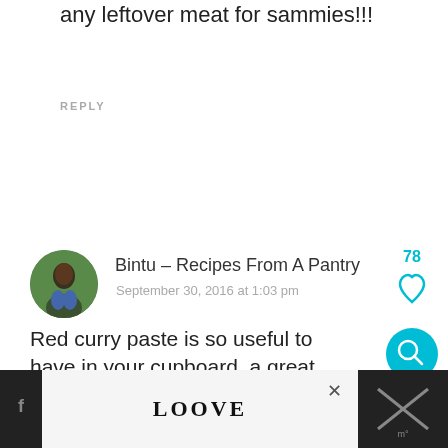I always have them in my freezer – great for any leftover meat for sammies!!!
REPLY
Bintu – Recipes From A Pantry
September 30, 2016 at 1:03 pm
[Figure (photo): Circular avatar photo of Bintu, a woman with dark hair, green background]
Red curry paste is so useful to have in your cupboard, a great easy curry
REPLY
[Figure (infographic): Social interaction buttons: like count 78, heart/like button, teal search button, heart outline button, salmon share button]
[Figure (screenshot): Bottom advertisement bar with LOOVE decorative text and close button, dark left and right panels]